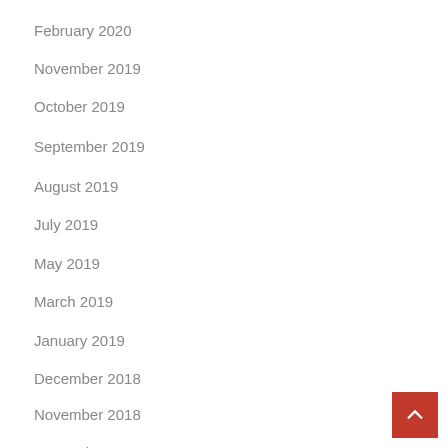February 2020
November 2019
October 2019
September 2019
August 2019
July 2019
May 2019
March 2019
January 2019
December 2018
November 2018
September 2018